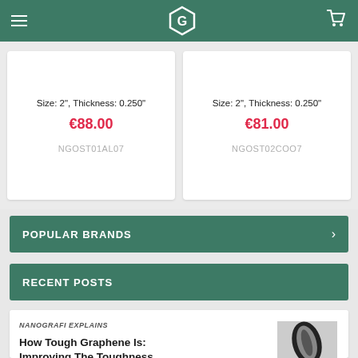[Figure (logo): Green hexagonal G logo on teal navigation header with hamburger menu and cart icon]
Size: 2", Thickness: 0.250"
€88.00
NGOST01AL07
Size: 2", Thickness: 0.250"
€81.00
NGOST02COO7
POPULAR BRANDS
RECENT POSTS
NANOGRAFI EXPLAINS
How Tough Graphene Is: Improving The Toughness of Graphene Fiber…